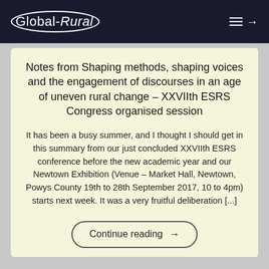Global-Rural
Notes from Shaping methods, shaping voices and the engagement of discourses in an age of uneven rural change – XXVIIth ESRS Congress organised session
It has been a busy summer, and I thought I should get in this summary from our just concluded XXVIIth ESRS conference before the new academic year and our Newtown Exhibition (Venue – Market Hall, Newtown, Powys County 19th to 28th September 2017, 10 to 4pm) starts next week. It was a very fruitful deliberation [...]
Continue reading →